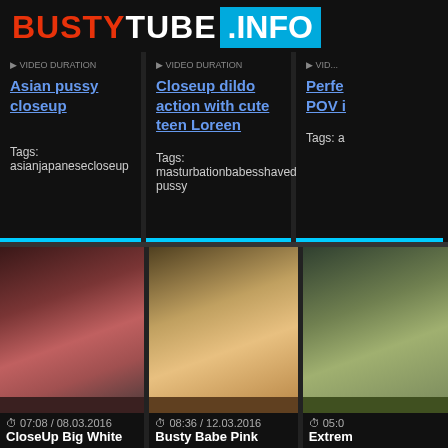BUSTYTUBE.INFO
Asian pussy closeup
Tags: asianjapanesecloseup
Closeup dildo action with cute teen Loreen
Tags: masturbationbabesshaved pussy
Perfe... POV i...
Tags: a...
[Figure (photo): Video thumbnail - closeup body shot]
07:08 / 08.03.2016
CloseUp Big White
[Figure (photo): Video thumbnail - blonde woman]
08:36 / 12.03.2016
Busty Babe Pink
[Figure (photo): Video thumbnail - two women outdoor]
05:0...
Extrem...